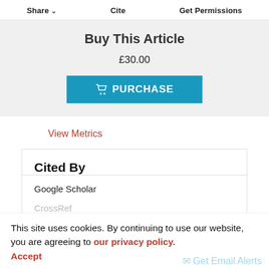Share   Cite   Get Permissions
Buy This Article
£30.00
PURCHASE
View Metrics
Cited By
Google Scholar
CrossRef
This site uses cookies. By continuing to use our website, you are agreeing to our privacy policy. Accept
Get Email Alerts